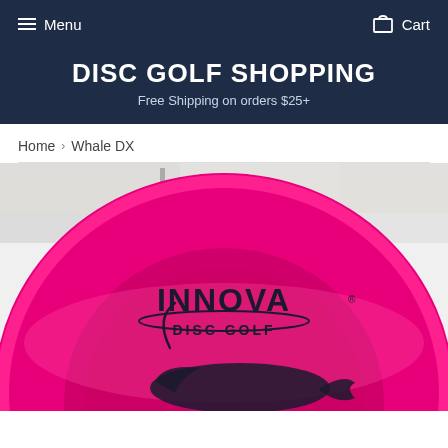Menu   Cart
DISC GOLF SHOPPING
Free Shipping on orders $25+
Home › Whale DX
[Figure (photo): Close-up photo of a bright pink/magenta Innova Disc Golf disc (Whale DX model) with a black whale graphic printed on it, placed against a white background.]